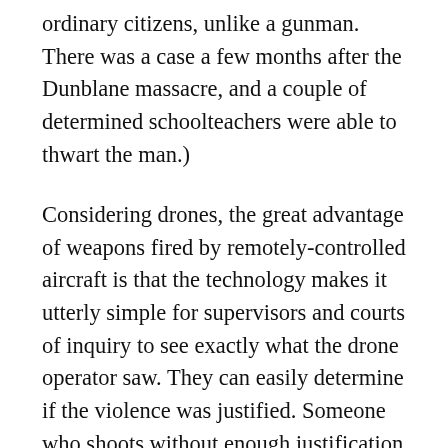ordinary citizens, unlike a gunman. There was a case a few months after the Dunblane massacre, and a couple of determined schoolteachers were able to thwart the man.)
Considering drones, the great advantage of weapons fired by remotely-controlled aircraft is that the technology makes it utterly simple for supervisors and courts of inquiry to see exactly what the drone operator saw. They can easily determine if the violence was justified. Someone who shoots without enough justification can be sacked or even prosecuted, with the solid evidence all there.
So why are so many kids being killed by drone